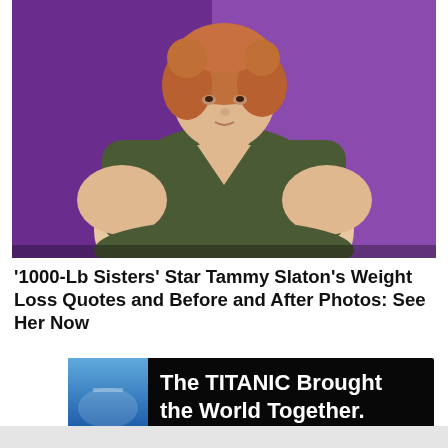[Figure (photo): A large woman with reddish-blonde curly hair wearing a dark olive/army green v-neck short sleeve shirt, seated against a purple background, looking upward.]
‘1000-Lb Sisters’ Star Tammy Slaton’s Weight Loss Quotes and Before and After Photos: See Her Now
[Figure (photo): Advertisement banner with blue and black background showing text 'The TITANIC Brought the World Together.']